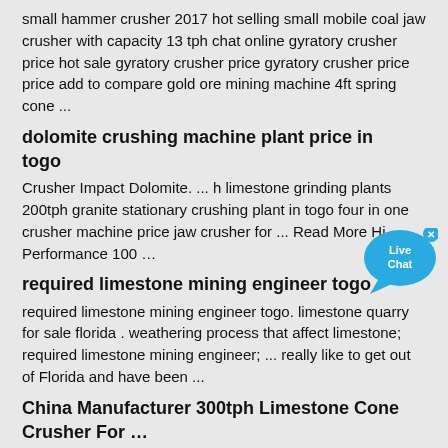small hammer crusher 2017 hot selling small mobile coal jaw crusher with capacity 13 tph chat online gyratory crusher price hot sale gyratory crusher price gyratory crusher price price add to compare gold ore mining machine 4ft spring cone ...
dolomite crushing machine plant price in togo
Crusher Impact Dolomite. ... h limestone grinding plants 200tph granite stationary crushing plant in togo four in one crusher machine price jaw crusher for ... Read More Hi Performance 100 …
required limestone mining engineer togo
required limestone mining engineer togo. limestone quarry for sale florida . weathering process that affect limestone; required limestone mining engineer; ... really like to get out of Florida and have been ...
China Manufacturer 300tph Limestone Cone Crusher For …
China Manufacturer 300tph Limestone Cone Crusher For Sale, Find Complete Details about China Manufacturer 300tph Limestone Cone Crusher For Sale,300tph Limestone Cone Crusher For Sale,High Efficient Plant Spring Cone Crusher,China Single Cylinder Hydraulic Cone Crusher from